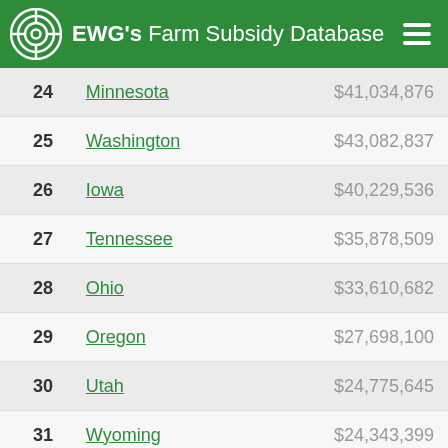EWG's Farm Subsidy Database
| Rank | State | Amount |
| --- | --- | --- |
| 24 | Minnesota | $41,034,876 |
| 25 | Washington | $43,082,837 |
| 26 | Iowa | $40,229,536 |
| 27 | Tennessee | $35,878,509 |
| 28 | Ohio | $33,610,682 |
| 29 | Oregon | $27,698,100 |
| 30 | Utah | $24,775,645 |
| 31 | Wyoming | $24,343,399 |
| 32 | Kentucky | $23,863,621 |
| 33 | Michigan | $22,718,000 |